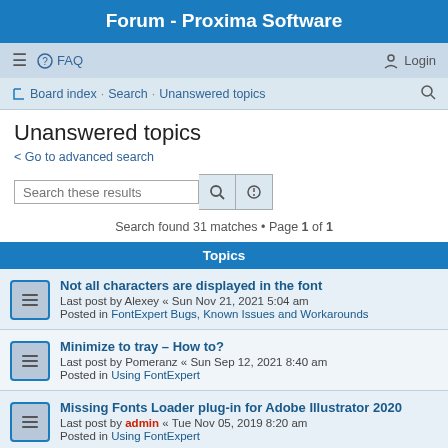Forum - Proxima Software
≡  FAQ  Login
Board index · Search · Unanswered topics
Unanswered topics
< Go to advanced search
Search these results
Search found 31 matches • Page 1 of 1
Topics
Not all characters are displayed in the font
Last post by Alexey « Sun Nov 21, 2021 5:04 am
Posted in FontExpert Bugs, Known Issues and Workarounds
Minimize to tray – How to?
Last post by Pomeranz « Sun Sep 12, 2021 8:40 am
Posted in Using FontExpert
Missing Fonts Loader plug-in for Adobe Illustrator 2020
Last post by admin « Tue Nov 05, 2019 8:20 am
Posted in Using FontExpert
VIDEO: Missing Fonts Loader plugin & InDesign
Last post by admin « Thu Mar 14, 2019 4:14 pm
Posted in Missing Fonts Loader Plug-in